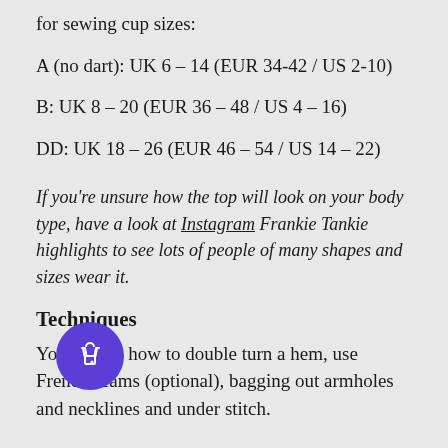for sewing cup sizes:
A (no dart): UK 6 – 14 (EUR 34-42 / US 2-10)
B: UK 8 – 20 (EUR 36 – 48 / US 4 – 16)
DD: UK 18 – 26 (EUR 46 – 54 / US 14 – 22)
If you're unsure how the top will look on your body type, have a look at Instagram Frankie Tankie highlights to see lots of people of many shapes and sizes wear it.
Techniques
You'll learn how to double turn a hem, use French seams (optional), bagging out armholes and necklines and under stitch.